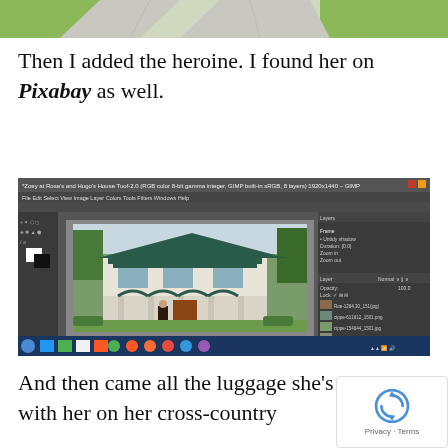[Figure (photo): Top portion of a grassy outdoor scene with a road or path visible, cropped at top of page]
Then I added the heroine. I found her on Pixabay as well.
[Figure (screenshot): Screenshot of GIMP image editing software showing a Victorian-style house with a woman figure composited in front of it. The GIMP interface shows layers panel, toolbox, and Windows taskbar at the bottom.]
And then came all the luggage she's brought with her on her cross-country